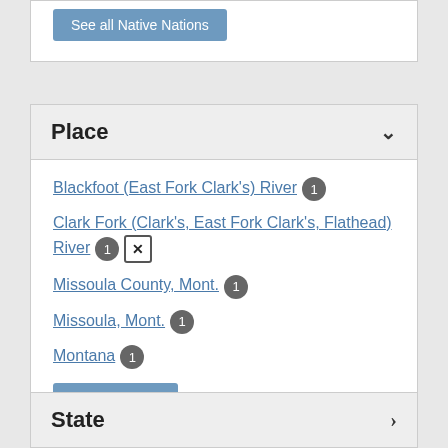See all Native Nations
Place
Blackfoot (East Fork Clark's) River 1
Clark Fork (Clark's, East Fork Clark's, Flathead) River 1 [x]
Missoula County, Mont. 1
Missoula, Mont. 1
Montana 1
See all Places
State